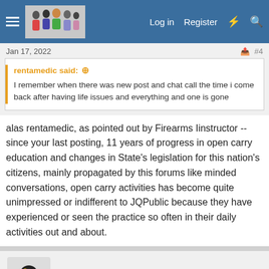[Figure (screenshot): Forum website navigation bar with hamburger menu, logo with group of people, Log in, Register, lightning bolt icon, and search icon on blue background]
Jan 17, 2022
#4
rentamedic said: ↑
I remember when there was new post and chat call the time i come back after having life issues and everything and one is gone
alas rentamedic, as pointed out by Firearms Iinstructor -- since your last posting, 11 years of progress in open carry education and changes in State's legislation for this nation's citizens, mainly propagated by this forums like minded conversations, open carry activities has become quite unimpressed or indifferent to JQPublic because they have experienced or seen the practice so often in their daily activities out and about.
color of law
Accomplished Advocate
Jan 17, 2022
#5